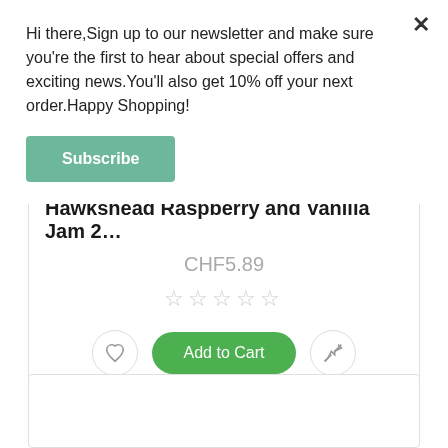Hi there,Sign up to our newsletter and make sure you're the first to hear about special offers and exciting news.You'll also get 10% off your next order.Happy Shopping!
Subscribe
Hawkshead Raspberry and Vanilla Jam 2…
CHF5.89
☆☆☆☆☆
Add to Cart